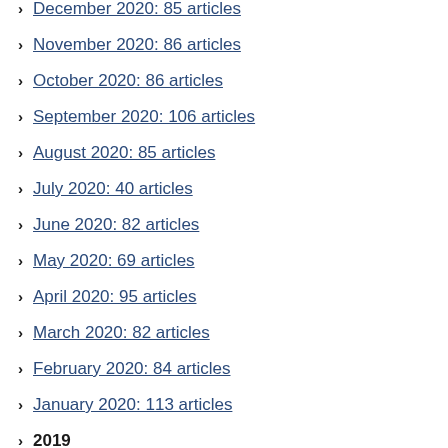December 2020: 85 articles
November 2020: 86 articles
October 2020: 86 articles
September 2020: 106 articles
August 2020: 85 articles
July 2020: 40 articles
June 2020: 82 articles
May 2020: 69 articles
April 2020: 95 articles
March 2020: 82 articles
February 2020: 84 articles
January 2020: 113 articles
2019
December 2019: 64 articles
November 2019: 118 articles